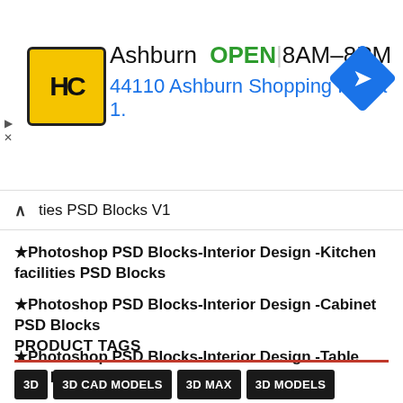[Figure (infographic): Advertisement banner for HC store in Ashburn showing logo, OPEN status, hours 8AM-8PM, address 44110 Ashburn Shopping Plaza 1., and navigation icon]
ties PSD Blocks V1
★Photoshop PSD Blocks-Interior Design -Kitchen facilities PSD Blocks
★Photoshop PSD Blocks-Interior Design -Cabinet PSD Blocks
★Photoshop PSD Blocks-Interior Design -Table PSD Blocks
PRODUCT TAGS
3D  3D CAD MODELS  3D MAX  3D MODELS  ACCESSIBILITY FACILITIES